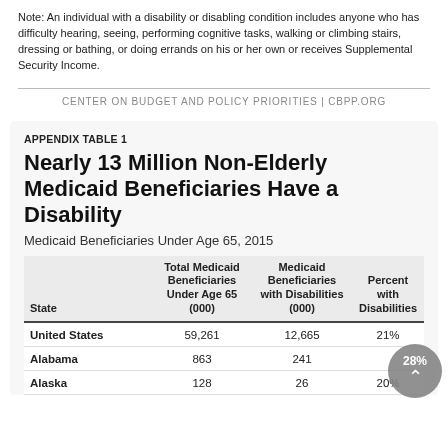Note: An individual with a disability or disabling condition includes anyone who has difficulty hearing, seeing, performing cognitive tasks, walking or climbing stairs, dressing or bathing, or doing errands on his or her own or receives Supplemental Security Income.
CENTER ON BUDGET AND POLICY PRIORITIES | CBPP.ORG
APPENDIX TABLE 1
Nearly 13 Million Non-Elderly Medicaid Beneficiaries Have a Disability
Medicaid Beneficiaries Under Age 65, 2015
| State | Total Medicaid Beneficiaries Under Age 65 (000) | Medicaid Beneficiaries with Disabilities (000) | Percent with Disabilities |
| --- | --- | --- | --- |
| United States | 59,261 | 12,665 | 21% |
| Alabama | 863 | 241 | 28% |
| Alaska | 128 | 26 | 20% |